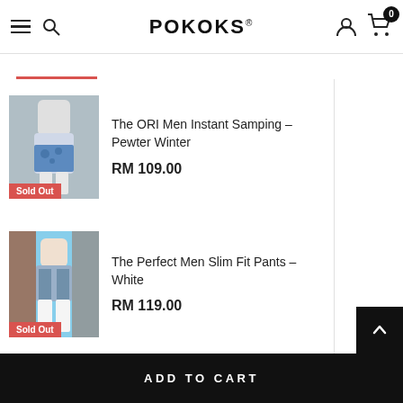POKOKS
The ORI Men Instant Samping - Pewter Winter
RM 109.00
Sold Out
The Perfect Men Slim Fit Pants - White
RM 119.00
Sold Out
ADD TO CART